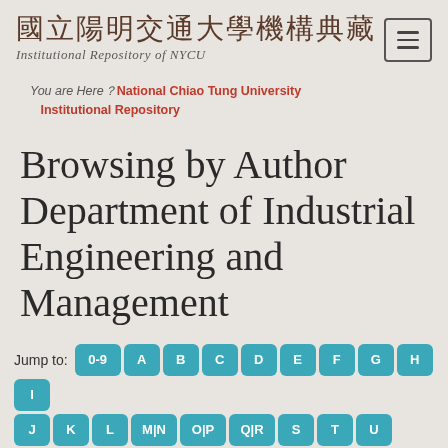國立陽明交通大學機構典藏 Institutional Repository of NYCU
You are Here？National Chiao Tung University Institutional Repository
Browsing by Author Department of Industrial Engineering and Management
Jump to: 0-9 A B C D E F G H I J K L M|N|O|P|Q|R S T U V W X|Y|Z or enter first few letters: